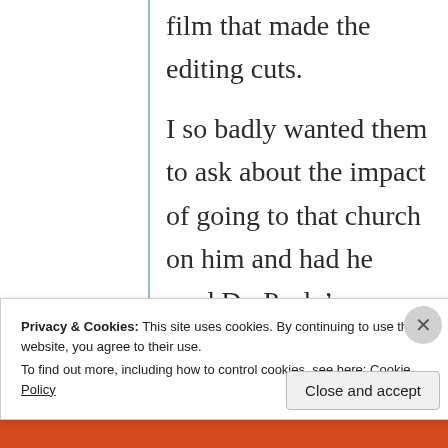film that made the editing cuts.
I so badly wanted them to ask about the impact of going to that church on him and had he read Dr. Peale's books? Did he know him and how had he been influenced by him? And then lead into
Privacy & Cookies: This site uses cookies. By continuing to use this website, you agree to their use.
To find out more, including how to control cookies, see here: Cookie Policy
Close and accept